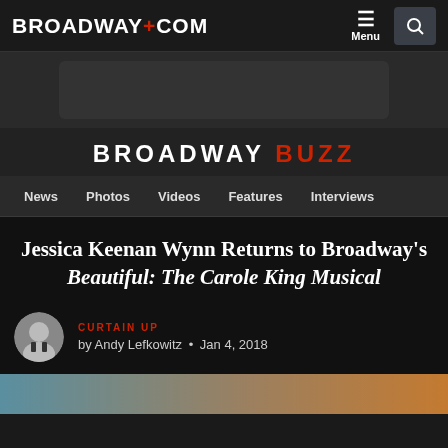BROADWAY.COM
[Figure (screenshot): Broadway.com website navigation header with logo, menu button, and search button]
BROADWAY BUZZ
News  Photos  Videos  Features  Interviews
Jessica Keenan Wynn Returns to Broadway's Beautiful: The Carole King Musical
CURTAIN UP
by Andy Lefkowitz • Jan 4, 2018